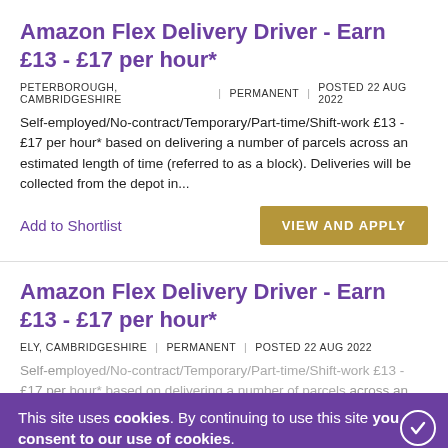Amazon Flex Delivery Driver - Earn £13 - £17 per hour*
PETERBOROUGH, CAMBRIDGESHIRE | PERMANENT | POSTED 22 AUG 2022
Self-employed/No-contract/Temporary/Part-time/Shift-work £13 - £17 per hour* based on delivering a number of parcels across an estimated length of time (referred to as a block). Deliveries will be collected from the depot in...
Add to Shortlist
Amazon Flex Delivery Driver - Earn £13 - £17 per hour*
ELY, CAMBRIDGESHIRE | PERMANENT | POSTED 22 AUG 2022
Self-employed/No-contract/Temporary/Part-time/Shift-work £13 - £17 per hour* based on delivering a number of parcels across an estimated length of time (referred to as a block). Deliveries will be collected from the depot in...
This site uses cookies. By continuing to use this site you consent to our use of cookies.